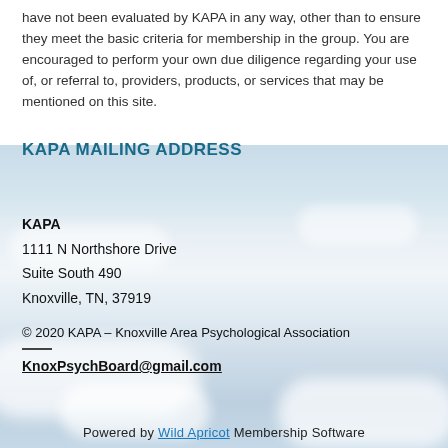have not been evaluated by KAPA in any way, other than to ensure they meet the basic criteria for membership in the group. You are encouraged to perform your own due diligence regarding your use of, or referral to, providers, products, or services that may be mentioned on this site.
KAPA MAILING ADDRESS
KAPA
1111 N Northshore Drive
Suite South 490
Knoxville, TN, 37919
© 2020 KAPA – Knoxville Area Psychological Association
KnoxPsychBoard@gmail.com
Powered by Wild Apricot Membership Software